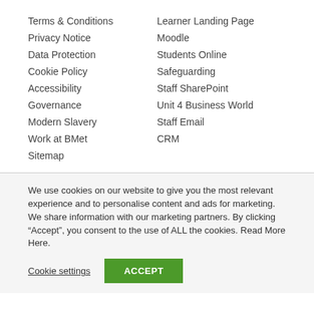Terms & Conditions
Privacy Notice
Data Protection
Cookie Policy
Accessibility
Governance
Modern Slavery
Work at BMet
Sitemap
Learner Landing Page
Moodle
Students Online
Safeguarding
Staff SharePoint
Unit 4 Business World
Staff Email
CRM
We use cookies on our website to give you the most relevant experience and to personalise content and ads for marketing. We share information with our marketing partners. By clicking “Accept”, you consent to the use of ALL the cookies. Read More Here.
Cookie settings
ACCEPT